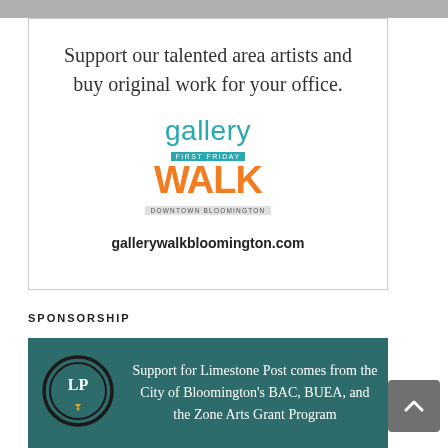[Figure (other): Gray banner bar at top of page]
Support our talented area artists and buy original work for your office.
[Figure (logo): Gallery Walk First Friday Downtown Bloomington logo with teal 'gallery' text and orange 'WALK' text]
gallerywalkbloomington.com
SPONSORSHIP
[Figure (infographic): Sponsorship banner with teal background, LP circle logo on left, and text: Support for Limestone Post comes from the City of Bloomington's BAC, BUEA, and the Zone Arts Grant Program]